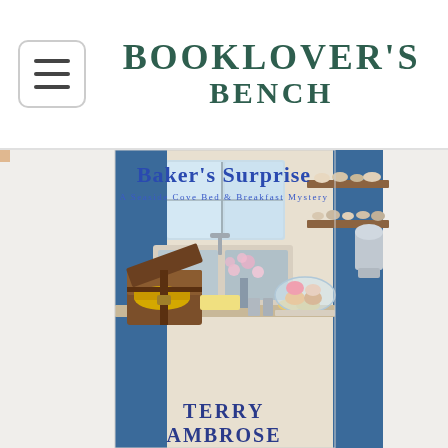BOOKLOVER'S BENCH
[Figure (photo): Book cover for 'Baker's Surprise: A Seaside Cove Bed & Breakfast Mystery' by Terry Ambrose. Shows a cozy kitchen scene with blue cabinets, wooden shelves with dishes, a farmhouse sink, a treasure chest, baked goods on a wooden counter, and cupcakes under a glass dome.]